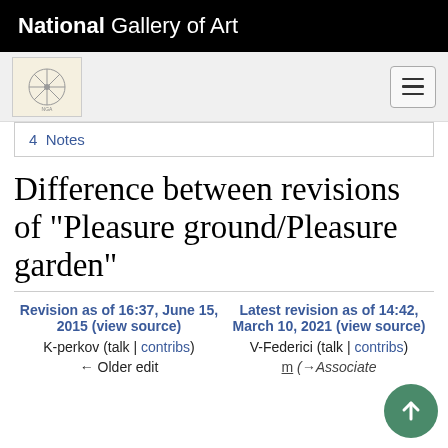National Gallery of Art
4  Notes
Difference between revisions of "Pleasure ground/Pleasure garden"
Revision as of 16:37, June 15, 2015 (view source)
K-perkov (talk | contribs)
← Older edit
Latest revision as of 14:42, March 10, 2021 (view source)
V-Federici (talk | contribs)
m (→Associate